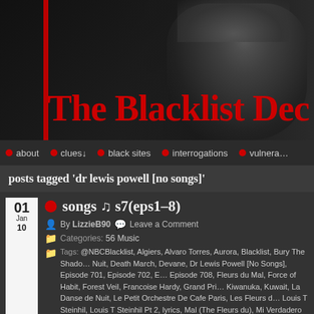[Figure (screenshot): Website header with dark background, man in hat silhouette on right, red vertical bar on left, site title 'The Blacklist Dec' in red]
The Blacklist Dec
about | clues↓ | black sites | interrogations | vulnera…
posts tagged 'dr lewis powell [no songs]'
01 Jan 10
songs ♫ s7(eps1-8)
By LizzieB90   Leave a Comment
Categories: 56 Music
Tags: @NBCBlacklist, Algiers, Alvaro Torres, Aurora, Blacklist, Bury The Shado… Nuit, Death March, Devane, Dr Lewis Powell [No Songs], Episode 701, Episode 702, E… Episode 708, Fleurs du Mal, Force of Habit, Forest Veil, Francoise Hardy, Grand Pri… Kiwanuka, Kuwait, La Danse de Nuit, Le Petit Orchestre De Cafe Paris, Les Fleurs d… Louis T Steinhil, Louis T Steinhil Pt 2, lyrics, Mal (The Fleurs du), Mi Verdadero Am… videos, My True Love, Norman Devane, Petit Orchestre De Cafe Paris, playlist, Powe… Ryan Kinder, S7 Eps 1-8, S7A, Scratch The Surface [Unavailable], Season 7, Solid Gr… Blacklist, The Hawaladar, Thompson Twins, Torres, true love, Tu Peu Bien, Verdade…